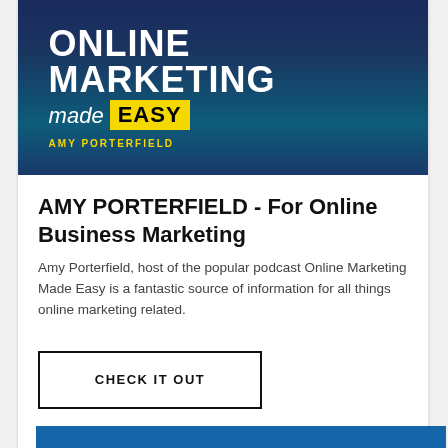[Figure (illustration): Podcast cover art for 'Online Marketing Made Easy' by Amy Porterfield. Dark blue background with white bold text 'ONLINE MARKETING' and italic 'made' followed by yellow box with 'EASY', author name 'AMY PORTERFIELD' in yellow below.]
AMY PORTERFIELD - For Online Business Marketing
Amy Porterfield, host of the popular podcast Online Marketing Made Easy is a fantastic source of information for all things online marketing related.
CHECK IT OUT